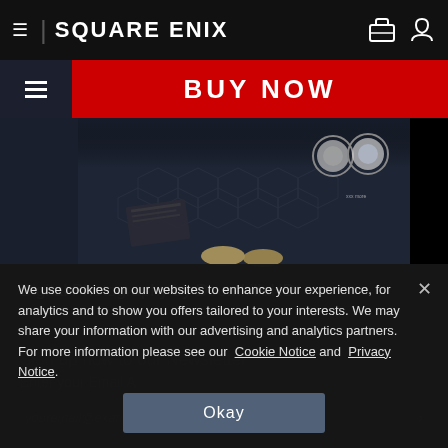≡ | SQUARE ENIX
BUY NOW
[Figure (screenshot): Game screenshot showing a dark sci-fi environment with hexagonal floor patterns and character feet visible, with two circular badge/medal icons on the right]
Digital Photography by DoomkillaHD
We use cookies on our websites to enhance your experience, for analytics and to show you offers tailored to your interests. We may share your information with our advertising and analytics partners. For more information please see our Cookie Notice and Privacy Notice.
Okay
Sign up now to our Newsletter
Enter your Email A
youremail@example.com